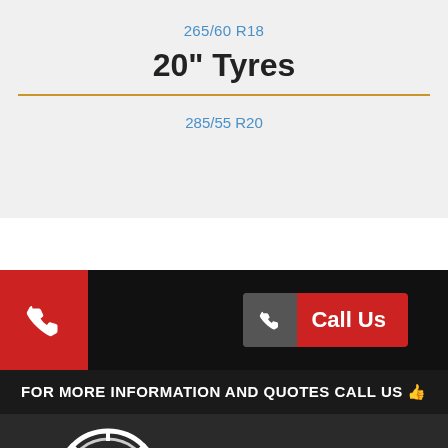265/60 R18
20" Tyres
285/55 R20
[Figure (infographic): Black bar with red phone icon box on left and grey+red Call Us button on right]
FOR MORE INFORMATION AND QUOTES CALL US 👍
[Figure (logo): Berkshire Mobile Tyres Services logo with tyre graphic and blue/red text]